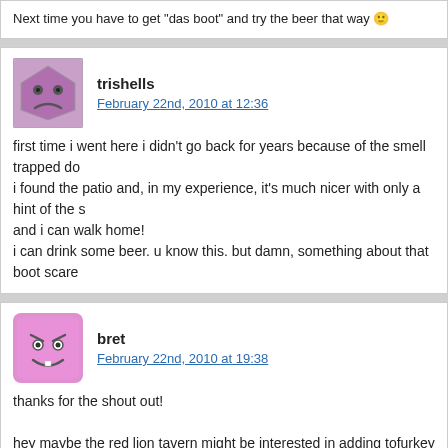Next time you have to get "das boot" and try the beer that way 🙂
trishells
February 22nd, 2010 at 12:36
first time i went here i didn't go back for years because of the smell trapped do... i found the patio and, in my experience, it's much nicer with only a hint of the s... and i can walk home!
i can drink some beer. u know this. but damn, something about that boot scare...
bret
February 22nd, 2010 at 19:38
thanks for the shout out!
hey maybe the red lion tavern might be interested in adding tofurkey brats? we... albany and they went for it – great addition to the menu.